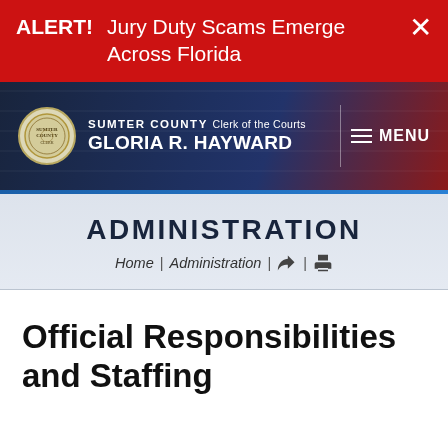ALERT! Jury Duty Scams Emerge Across Florida ×
[Figure (screenshot): Sumter County Clerk of the Courts Gloria R. Hayward website header with seal logo and MENU navigation]
ADMINISTRATION
Home | Administration | [share icon] | [print icon]
Official Responsibilities and Staffing